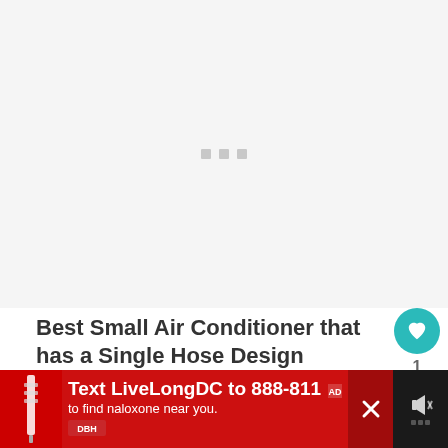[Figure (other): Loading placeholder with three grey dots on light grey background]
Best Small Air Conditioner that has a Single Hose Design
[Figure (photo): Partial product image of a small air conditioner at the bottom]
[Figure (other): Advertisement banner: Text LiveLongDC to 888-811 to find naloxone near you.]